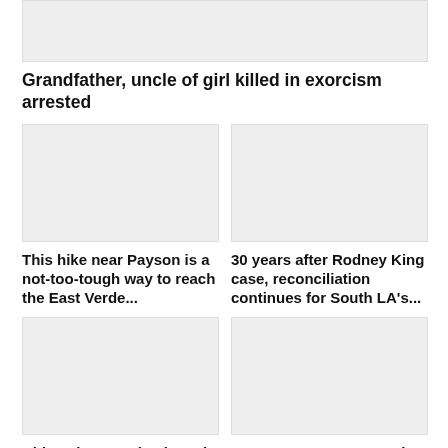[Figure (photo): Placeholder image for article about grandfather and uncle arrested]
Grandfather, uncle of girl killed in exorcism arrested
[Figure (photo): Placeholder image for hike near Payson article]
This hike near Payson is a not-too-tough way to reach the East Verde...
[Figure (photo): Placeholder image for Rodney King case article]
30 years after Rodney King case, reconciliation continues for South LA's...
[Figure (photo): Placeholder image for China pandemic article]
China cites pandemic and withdraws as host of 2022 Asian Games...
[Figure (photo): Placeholder image for Astros article]
LEADING OFF: Astros aim to match team mark of 12 consecutive...